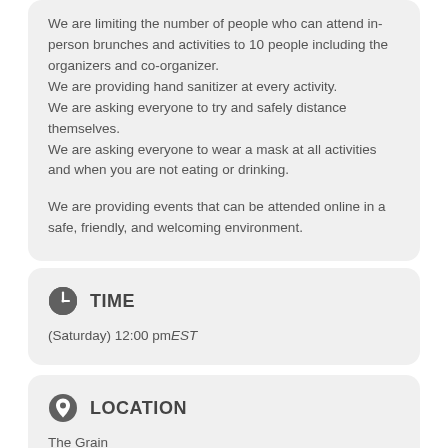We are limiting the number of people who can attend in-person brunches and activities to 10 people including the organizers and co-organizer.
We are providing hand sanitizer at every activity.
We are asking everyone to try and safely distance themselves.
We are asking everyone to wear a mask at all activities and when you are not eating or drinking.

We are providing events that can be attended online in a safe, friendly, and welcoming environment.
TIME
(Saturday) 12:00 pmEST
LOCATION
The Grain